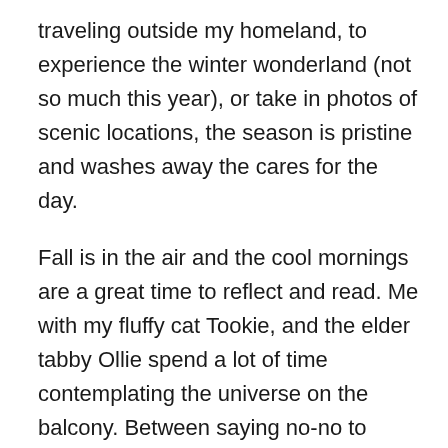traveling outside my homeland, to experience the winter wonderland (not so much this year), or take in photos of scenic locations, the season is pristine and washes away the cares for the day.
Fall is in the air and the cool mornings are a great time to reflect and read. Me with my fluffy cat Tookie, and the elder tabby Ollie spend a lot of time contemplating the universe on the balcony. Between saying no-no to Tookie who wants to eat the plants and anything else that may be edible, my universe is almost complete.
Looking for a new novel to take your cares